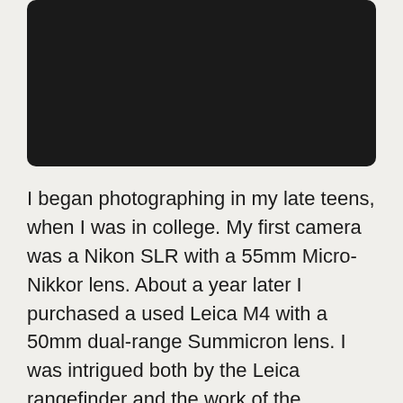[Figure (photo): A dark/black rectangular image taking up the upper portion of the page]
I began photographing in my late teens, when I was in college. My first camera was a Nikon SLR with a 55mm Micro-Nikkor lens. About a year later I purchased a used Leica M4 with a 50mm dual-range Summicron lens. I was intrigued both by the Leica rangefinder and the work of the photographers known for using it. The first photographic book I purchased was The World Of Henri Cartier-Bresson – a book I still own and treasure. A straightforward, documentary approach to photography became an enduring model for me.